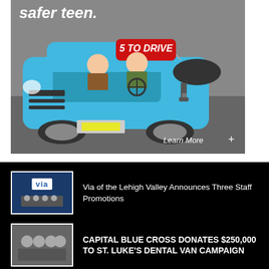[Figure (illustration): Advertisement showing a blue car with two people (adult and teen) driving, with a keychain tag reading '5 TO DRIVE' and text 'safer teen.' at top. 'Learn More' button with + icon at bottom right. Gray background.]
Via of the Lehigh Valley Announces Three Staff Promotions
CAPITAL BLUE CROSS DONATES $250,000 TO ST. LUKE'S DENTAL VAN CAMPAIGN